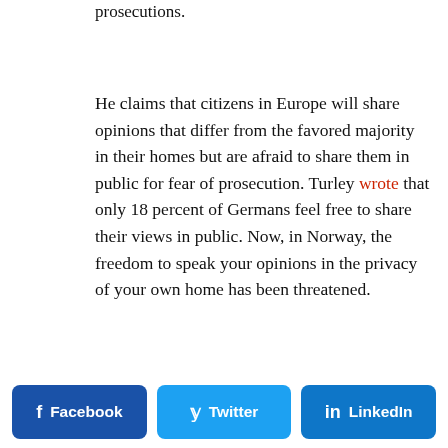prosecutions.
He claims that citizens in Europe will share opinions that differ from the favored majority in their homes but are afraid to share them in public for fear of prosecution. Turley wrote that only 18 percent of Germans feel free to share their views in public. Now, in Norway, the freedom to speak your opinions in the privacy of your own home has been threatened.
Turley writes
Facebook | Twitter | LinkedIn